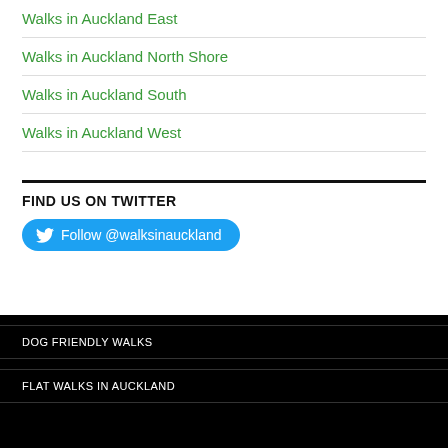Walks in Auckland East
Walks in Auckland North Shore
Walks in Auckland South
Walks in Auckland West
FIND US ON TWITTER
Follow @walksinauckland
DOG FRIENDLY WALKS
FLAT WALKS IN AUCKLAND